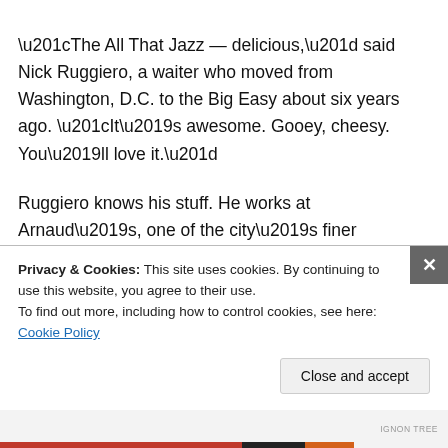“The All That Jazz — delicious,” said Nick Ruggiero, a waiter who moved from Washington, D.C. to the Big Easy about six years ago. “It’s awesome. Gooey, cheesy. You’ll love it.”
Ruggiero knows his stuff. He works at Arnaud’s, one of the city’s finer restaurants, and recommended particular dishes around town. He was the third person to verify that
Privacy & Cookies: This site uses cookies. By continuing to use this website, you agree to their use.
To find out more, including how to control cookies, see here: Cookie Policy
Close and accept